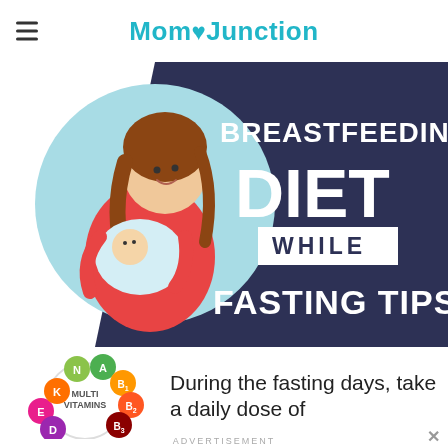MomJunction
[Figure (infographic): Breastfeeding Diet While Fasting Tips infographic: illustration of a mother breastfeeding a baby on the left (circular light blue background), and dark navy background on the right with white bold text reading 'BREASTFEEDING DIET WHILE FASTING TIPS']
[Figure (infographic): Colorful circular arrangement of multivitamin pills labeled E, D, K, N, A, B1, B2, B3 with 'MULTI VITAMINS' text in the center, on a white background]
During the fasting days, take a daily dose of
ADVERTISEMENT